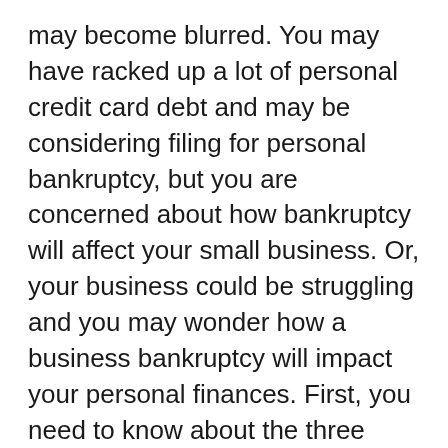may become blurred. You may have racked up a lot of personal credit card debt and may be considering filing for personal bankruptcy, but you are concerned about how bankruptcy will affect your small business. Or, your business could be struggling and you may wonder how a business bankruptcy will impact your personal finances. First, you need to know about the three most common types of bankruptcy: Chapter 7, Chapter 11 and Chapter 13. Under a Chapter 7 bankruptcy, which is a liquidation, assets are used to pay debts, and any remaining debts are “wiped out”. A Chapter 7 filing can be utilized for both individuals and businesses. A Chapter 11 or 13, which are also available for individuals and businesses, commonly referred to as reorganization, allows debtors with a regular income to set up a new timetable for paying off